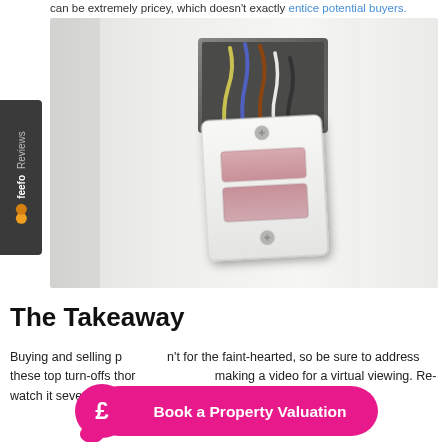can be extremely pricey, which doesn't exactly entice potential buyers.
[Figure (photo): Close-up photo of a partially removed electrical socket/switch plate pulled away from the wall, exposing colorful wiring behind it. The socket is white plastic with pink/red switch buttons.]
The Takeaway
Buying and selling property isn't for the faint-hearted, so be sure to address these top turn-offs thoroughly before making a video for a virtual viewing. Re-watch it several times, just to be
[Figure (infographic): Pink 'Book a Property Valuation' call-to-action button with a pound sign speech bubble icon on the left.]